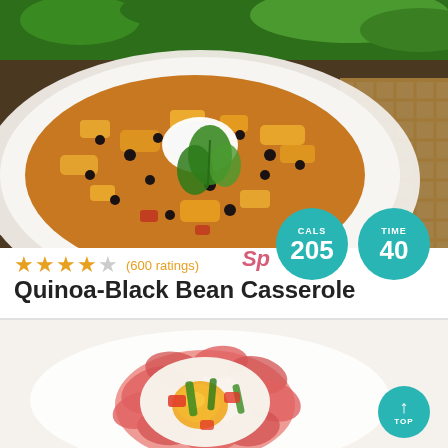[Figure (photo): Close-up photo of Quinoa-Black Bean Casserole on a white plate with sour cream, melted cheese, black beans, and fresh cilantro garnish. Teal circular badges show CALS 205 and TIME 40. Partially visible 'Sp' watermark in red.]
(600 ratings)
Quinoa-Black Bean Casserole
[Figure (photo): Close-up photo of an egg baked in a ham cup with green peppers and tomatoes on a white background.]